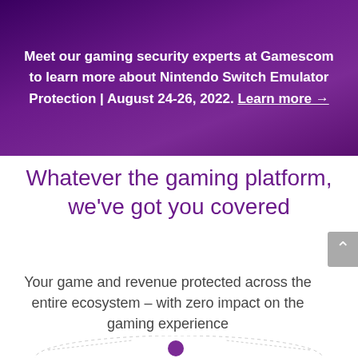Meet our gaming security experts at Gamescom to learn more about Nintendo Switch Emulator Protection | August 24-26, 2022. Learn more →
Whatever the gaming platform, we've got you covered
Your game and revenue protected across the entire ecosystem – with zero impact on the gaming experience
[Figure (other): Partial circular diagram with a purple dot at the top center and dashed/dotted lines forming a circular pattern at the bottom of the page]